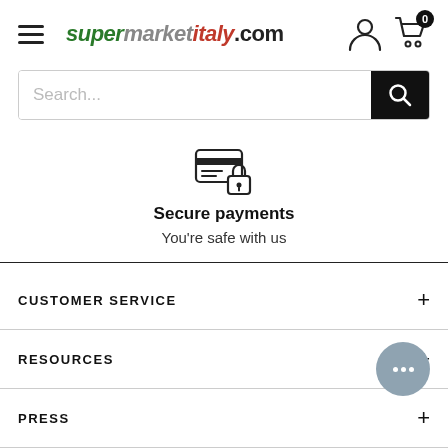supermarketitaly.com
Search...
[Figure (illustration): Secure payments icon: a credit card with a lock symbol]
Secure payments
You're safe with us
CUSTOMER SERVICE +
RESOURCES +
PRESS +